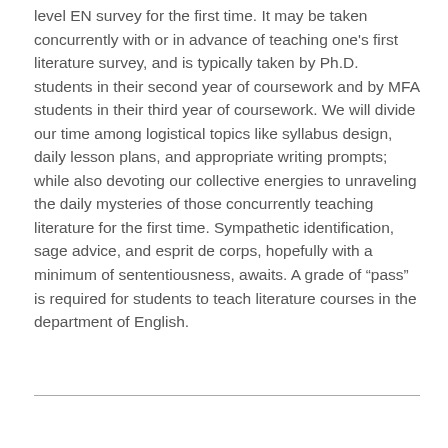level EN survey for the first time. It may be taken concurrently with or in advance of teaching one's first literature survey, and is typically taken by Ph.D. students in their second year of coursework and by MFA students in their third year of coursework. We will divide our time among logistical topics like syllabus design, daily lesson plans, and appropriate writing prompts; while also devoting our collective energies to unraveling the daily mysteries of those concurrently teaching literature for the first time. Sympathetic identification, sage advice, and esprit de corps, hopefully with a minimum of sententiousness, awaits. A grade of “pass” is required for students to teach literature courses in the department of English.